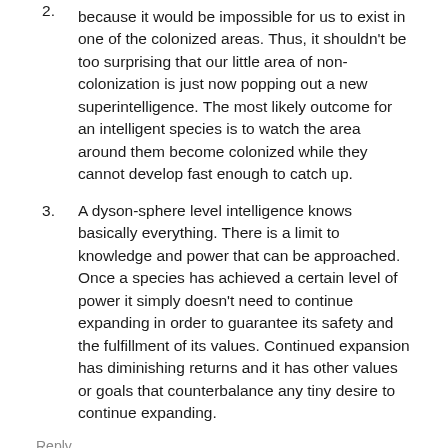because it would be impossible for us to exist in one of the colonized areas. Thus, it shouldn't be too surprising that our little area of non-colonization is just now popping out a new superintelligence. The most likely outcome for an intelligent species is to watch the area around them become colonized while they cannot develop fast enough to catch up.
2. A dyson-sphere level intelligence knows basically everything. There is a limit to knowledge and power that can be approached. Once a species has achieved a certain level of power it simply doesn't need to continue expanding in order to guarantee its safety and the fulfillment of its values. Continued expansion has diminishing returns and it has other values or goals that counterbalance any tiny desire to continue expanding.
Reply
Open thread, Nov. 30 - Dec. 06, 2015
Gavin 7y ↗ < 3 >
My real solution was not to own a car at all. Feel free to